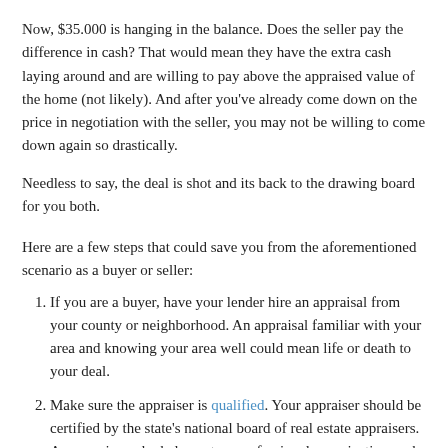Now, $35,000 is hanging in the balance. Does the seller pay the difference in cash? That would mean they have the extra cash laying around and are willing to pay above the appraised value of the home (not likely). And after you've already come down on the price in negotiation with the seller, you may not be willing to come down again so drastically.
Needless to say, the deal is shot and its back to the drawing board for you both.
Here are a few steps that could save you from the aforementioned scenario as a buyer or seller:
If you are a buyer, have your lender hire an appraisal from your county or neighborhood. An appraisal familiar with your area and knowing your area well could mean life or death to your deal.
Make sure the appraiser is qualified. Your appraiser should be certified by the state's national board of real estate appraisers. An appraiser who belongs to a professional organization such as the Association of Georgia Real Estate Appraisers (AGREA).
[Figure (photo): Photo of a house with trees and red-tiled roof, partially visible at bottom of page]